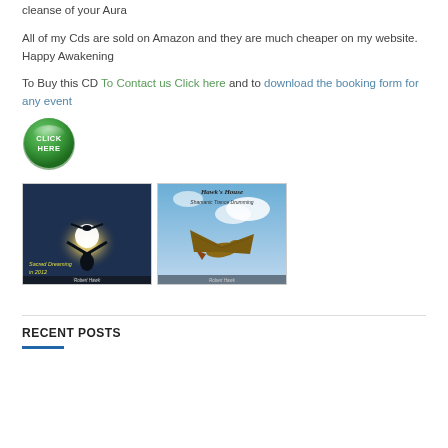cleanse of your Aura
All of my Cds are sold on Amazon and they are much cheaper on my website. Happy Awakening
To Buy this CD To Contact us Click here and to download the booking form for any event
[Figure (illustration): Green circular 'Click Here' button with glossy effect and white text]
[Figure (photo): Two CD cover images side by side. Left: 'Sacred Dreaming in 2012 - Robert Hawk' showing silhouette of person with arms raised against bright sun. Right: Hawk's House Shamanic Trance Drumming - Robert Hawk showing a hawk in flight against blue sky.]
RECENT POSTS